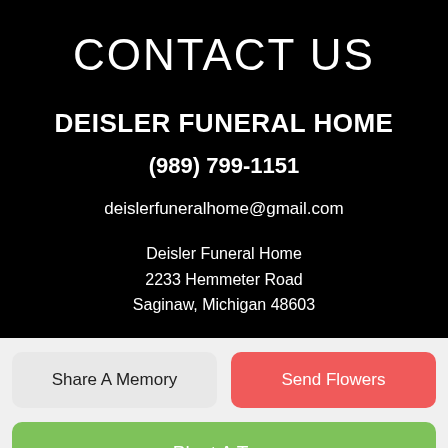CONTACT US
DEISLER FUNERAL HOME
(989) 799-1151
deislerfuneralhome@gmail.com
Deisler Funeral Home
2233 Hemmeter Road
Saginaw, Michigan 48603
Share A Memory
Send Flowers
Plant A Tree